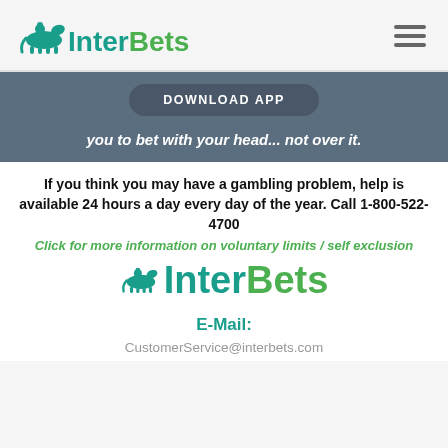[Figure (logo): InterBets logo with horse and jockey icon, teal Inter and green Bets text]
[Figure (other): Hamburger menu icon (three horizontal lines)]
[Figure (screenshot): Download App button on blue-gray banner background]
you to bet with your head... not over it.
If you think you may have a gambling problem, help is available 24 hours a day every day of the year.  Call 1-800-522-4700
Click for more information on voluntary limits / self exclusion
[Figure (logo): InterBets center logo with horse and jockey icon, teal Inter and green Bets text]
E-Mail:
CustomerService@interbets.com